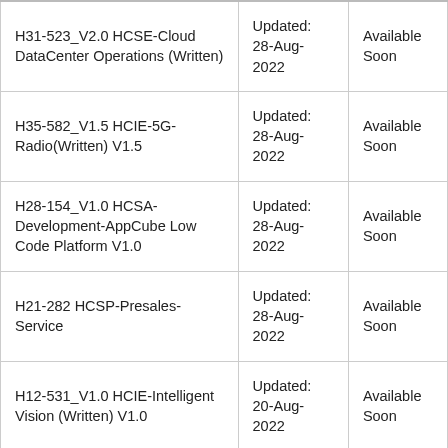| H31-523_V2.0 HCSE-Cloud DataCenter Operations (Written) | Updated: 28-Aug-2022 | Available Soon |
| H35-582_V1.5 HCIE-5G-Radio(Written) V1.5 | Updated: 28-Aug-2022 | Available Soon |
| H28-154_V1.0 HCSA-Development-AppCube Low Code Platform V1.0 | Updated: 28-Aug-2022 | Available Soon |
| H21-282 HCSP-Presales-Service | Updated: 28-Aug-2022 | Available Soon |
| H12-531_V1.0 HCIE-Intelligent Vision (Written) V1.0 | Updated: 20-Aug-2022 | Available Soon |
| H12-921_V1.0 HCIE-Data Center Network (Written) V1.0 | Updated: 20-Aug-2022 | Available Soon |